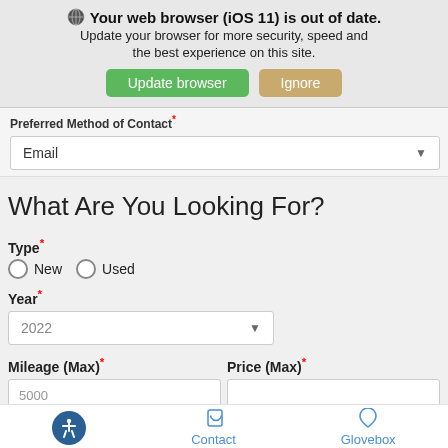[Figure (screenshot): Browser update notification banner with globe/Safari icon, bold heading 'Your web browser (iOS 11) is out of date.', body text 'Update your browser for more security, speed and the best experience on this site.', and two buttons: green 'Update browser' and tan 'Ignore'.]
Preferred Method of Contact *
Email (dropdown)
What Are You Looking For?
Type *
New   Used (radio buttons)
Year *
2022 (dropdown)
Mileage (Max) *
Price (Max) *
Accessibility icon   Contact   Glovebox